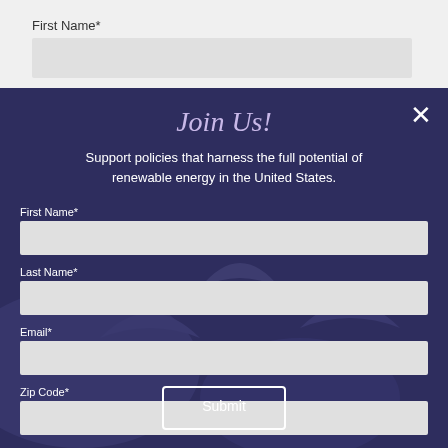First Name*
Join Us!
Support policies that harness the full potential of renewable energy in the United States.
First Name*
Last Name*
Email*
Zip Code*
Submit